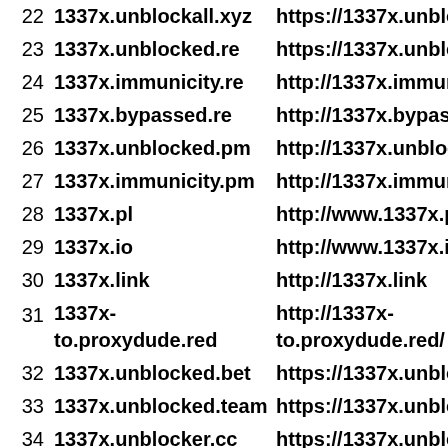| # | Domain | URL |
| --- | --- | --- |
| 22 | 1337x.unblockall.xyz | https://1337x.unblockall.x |
| 23 | 1337x.unblocked.re | https://1337x.unblocked.r |
| 24 | 1337x.immunicity.re | http://1337x.immunicity.re |
| 25 | 1337x.bypassed.re | http://1337x.bypassed.re/ |
| 26 | 1337x.unblocked.pm | http://1337x.unblocked.pm |
| 27 | 1337x.immunicity.pm | http://1337x.immunicity.p |
| 28 | 1337x.pl | http://www.1337x.pl/ |
| 29 | 1337x.io | http://www.1337x.io/ |
| 30 | 1337x.link | http://1337x.link |
| 31 | 1337x-to.proxydude.red | http://1337x-to.proxydude.red/ |
| 32 | 1337x.unblocked.bet | https://1337x.unblocked |
| 33 | 1337x.unblocked.team | https://1337x.unblocked |
| 34 | 1337x.unblocker.cc | https://1337x.unblocker. |